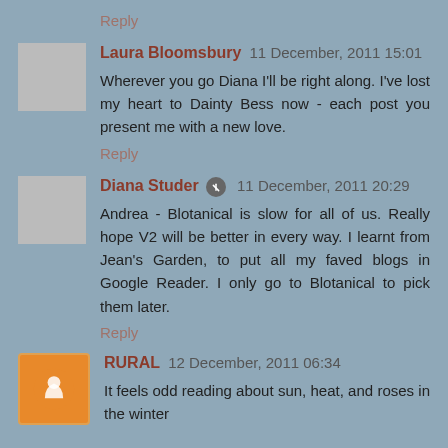Reply
Laura Bloomsbury 11 December, 2011 15:01
Wherever you go Diana I'll be right along. I've lost my heart to Dainty Bess now - each post you present me with a new love.
Reply
Diana Studer 11 December, 2011 20:29
Andrea - Blotanical is slow for all of us. Really hope V2 will be better in every way. I learnt from Jean's Garden, to put all my faved blogs in Google Reader. I only go to Blotanical to pick them later.
Reply
RURAL 12 December, 2011 06:34
It feels odd reading about sun, heat, and roses in the winter